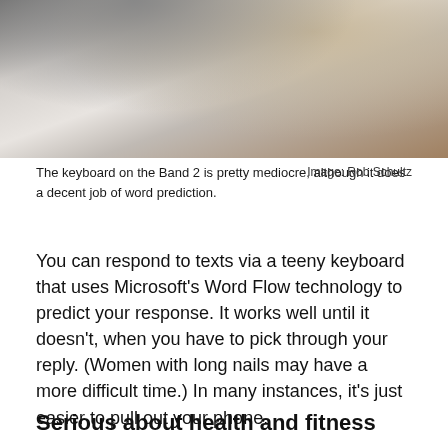[Figure (photo): Close-up photo of what appears to be a white/grey furry surface or animal, with blurred brownish/orange background on the right.]
The keyboard on the Band 2 is pretty mediocre, although it does a decent job of word prediction.
Image: Rob Schultz
You can respond to texts via a teeny keyboard that uses Microsoft’s Word Flow technology to predict your response. It works well until it doesn’t, when you have to pick through your reply. (Women with long nails may have a more difficult time.) In many instances, it’s just easier to pull out your phone.
Serious about health and fitness